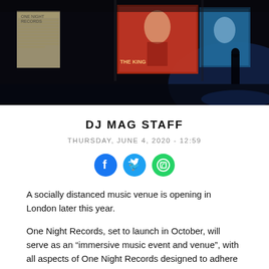[Figure (photo): Dark atmospheric photo of a music venue storefront at night with colorful posters on the wall, blue lighting, and a silhouette of a person in the background]
DJ MAG STAFF
THURSDAY, JUNE 4, 2020 - 12:59
[Figure (other): Social media sharing icons: Facebook, Twitter, WhatsApp]
A socially distanced music venue is opening in London later this year.
One Night Records, set to launch in October, will serve as an “immersive music event and venue”, with all aspects of One Night Records designed to adhere to social distancing guidelines. According to the website,